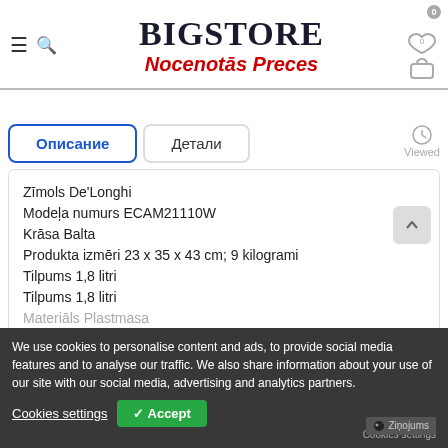BIGSTORE Nocenotās Preces
Описание | Детали | Viewed
Zīmols De'Longhi
Modeļa numurs ECAM21110W
Krāsa Balta
Produkta izmēri 23 x 35 x 43 cm; 9 kilogrami
Tilpums 1,8 litri
Tilpums 1,8 litri
Materiāls Plastmasa
Preces svars 9 kg
We use cookies to personalise content and ads, to provide social media features and to analyse our traffic. We also share information about your use of our site with our social media, advertising and analytics partners.